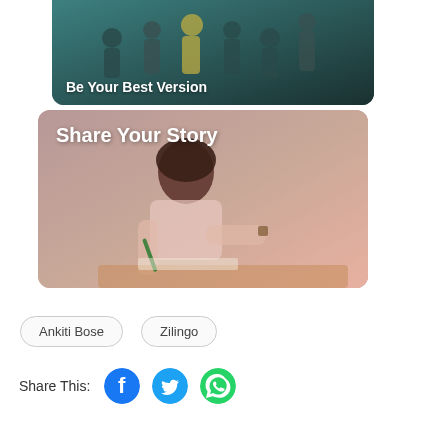[Figure (photo): Top card partially visible showing silhouetted figures with text 'Be Your Best Version' at bottom left]
[Figure (photo): Card showing a woman writing at a desk, with text 'Share Your Story' overlaid at top left]
Ankiti Bose
Zilingo
Share This:
[Figure (logo): Facebook, Twitter, and WhatsApp social media share icons]